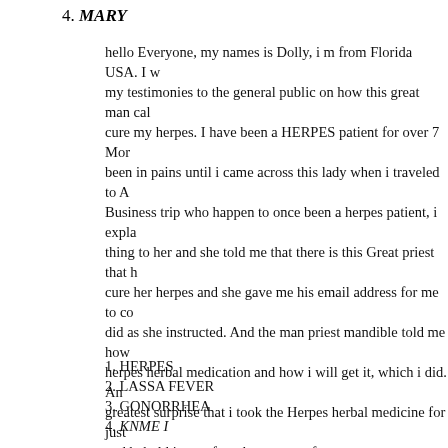4. MARY
hello Everyone, my names is Dolly, i m from Florida USA. I w my testimonies to the general public on how this great man cal cure my herpes. I have been a HERPES patient for over 7 Mor been in pains until i came across this lady when i traveled to A Business trip who happen to once been a herpes patient, i expl thing to her and she told me that there is this Great priest that h cure her herpes and she gave me his email address for me to co did as she instructed. And the man priest mandible told me how herpes herbal medication and how i will get it, which i did. An greatest surprise that i took the Herpes herbal medicine for jus and behold i went for a herpes test, for to my greatest surprise Doctor confirmed me to herpes free and said that i no longer ha my system and till now i have never felt any pains nor herpes a said i must testify the goodness of this man to the general publ you are there surfing from this Herpes problems or any deadly other disease for i will advice you to contact him on his workin okosunjohn718@gmail.com and i assure you that he will help as he did for me okay
contact him on his email: okosunjohn718@gmail.com
THESE ARE THE THINGS priest mandible DOES
1. HERPES
2. LASSA FEVER
3. GONORRHEA
4. KNME I